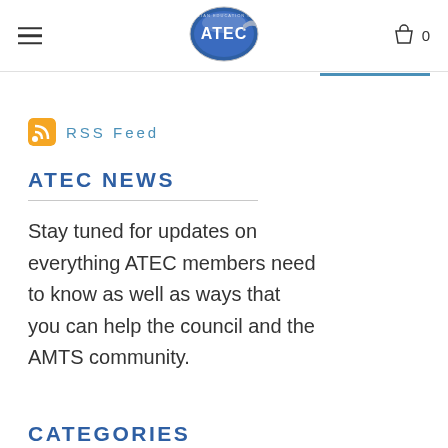ATEC — navigation header with hamburger menu, ATEC logo, and cart icon with 0
RSS Feed
ATEC NEWS
Stay tuned for updates on everything ATEC members need to know as well as ways that you can help the council and the AMTS community.
CATEGORIES